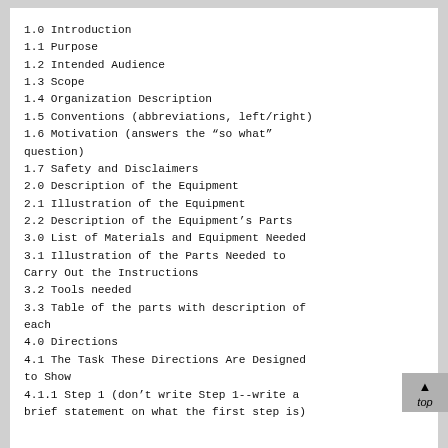1.0 Introduction
1.1 Purpose
1.2 Intended Audience
1.3 Scope
1.4 Organization Description
1.5 Conventions (abbreviations, left/right)
1.6 Motivation (answers the “so what” question)
1.7 Safety and Disclaimers
2.0 Description of the Equipment
2.1 Illustration of the Equipment
2.2 Description of the Equipment’s Parts
3.0 List of Materials and Equipment Needed
3.1 Illustration of the Parts Needed to Carry Out the Instructions
3.2 Tools needed
3.3 Table of the parts with description of each
4.0 Directions
4.1 The Task These Directions Are Designed to Show
4.1.1 Step 1 (don’t write Step 1--write a brief statement on what the first step is)